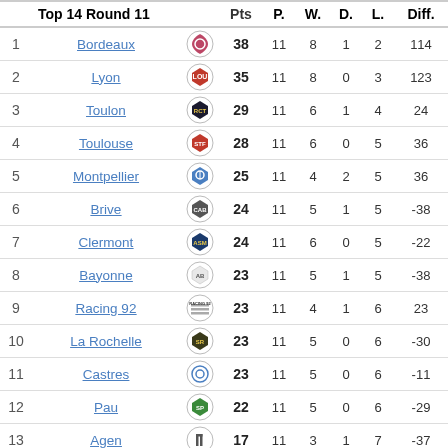|  | Top 14 Round 11 |  | Pts | P. | W. | D. | L. | Diff. |
| --- | --- | --- | --- | --- | --- | --- | --- | --- |
| 1 | Bordeaux |  | 38 | 11 | 8 | 1 | 2 | 114 |
| 2 | Lyon |  | 35 | 11 | 8 | 0 | 3 | 123 |
| 3 | Toulon |  | 29 | 11 | 6 | 1 | 4 | 24 |
| 4 | Toulouse |  | 28 | 11 | 6 | 0 | 5 | 36 |
| 5 | Montpellier |  | 25 | 11 | 4 | 2 | 5 | 36 |
| 6 | Brive |  | 24 | 11 | 5 | 1 | 5 | -38 |
| 7 | Clermont |  | 24 | 11 | 6 | 0 | 5 | -22 |
| 8 | Bayonne |  | 23 | 11 | 5 | 1 | 5 | -38 |
| 9 | Racing 92 |  | 23 | 11 | 4 | 1 | 6 | 23 |
| 10 | La Rochelle |  | 23 | 11 | 5 | 0 | 6 | -30 |
| 11 | Castres |  | 23 | 11 | 5 | 0 | 6 | -11 |
| 12 | Pau |  | 22 | 11 | 5 | 0 | 6 | -29 |
| 13 | Agen |  | 17 | 11 | 3 | 1 | 7 | -37 |
| 14 | Paris |  | 14 | 11 | 3 | 0 | 8 | -151 |